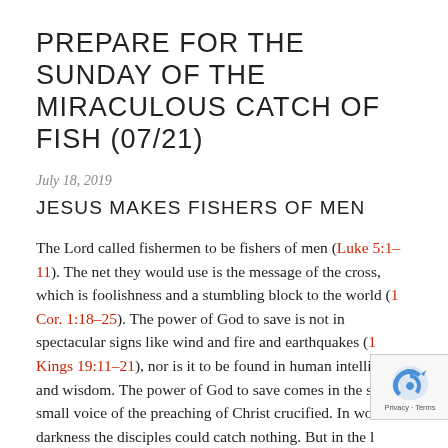PREPARE FOR THE SUNDAY OF THE MIRACULOUS CATCH OF FISH (07/21)
July 18, 2019
JESUS MAKES FISHERS OF MEN
The Lord called fishermen to be fishers of men (Luke 5:1–11). The net they would use is the message of the cross, which is foolishness and a stumbling block to the world (1 Cor. 1:18–25). The power of God to save is not in spectacular signs like wind and fire and earthquakes (1 Kings 19:11–21), nor is it to be found in human intelligence and wisdom. The power of God to save comes in the still, small voice of the preaching of Christ crucified. In world darkness the disciples could catch nothing. But in the light of Christ, whose Word was attached to the water, the Lord…